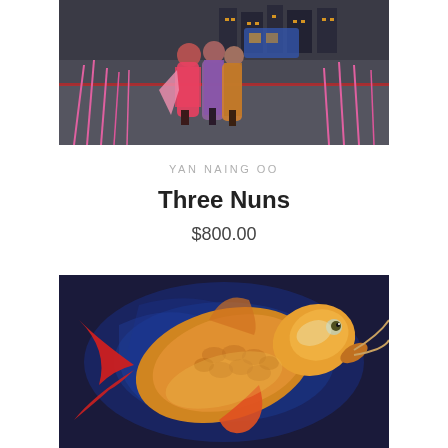[Figure (illustration): Painting of three nuns walking on a dark road at night, with pink reed-like plants on the sides and city bus lights in the background. Figures wear pink and purple robes.]
YAN NAING OO
Three Nuns
$800.00
[Figure (illustration): Painting of a large golden/orange koi fish with red fins swimming in a deep blue swirling water background. Detailed scales are visible.]